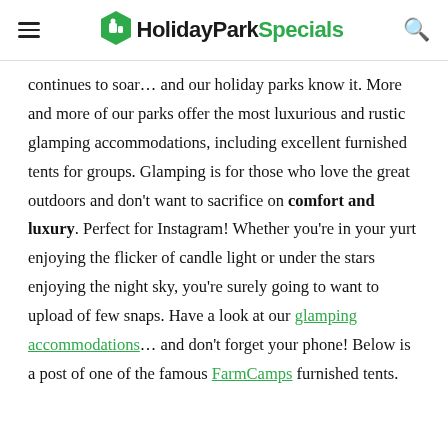HolidayParkSpecials
continues to soar… and our holiday parks know it. More and more of our parks offer the most luxurious and rustic glamping accommodations, including excellent furnished tents for groups. Glamping is for those who love the great outdoors and don't want to sacrifice on comfort and luxury. Perfect for Instagram! Whether you're in your yurt enjoying the flicker of candle light or under the stars enjoying the night sky, you're surely going to want to upload of few snaps. Have a look at our glamping accommodations… and don't forget your phone! Below is a post of one of the famous FarmCamps furnished tents.